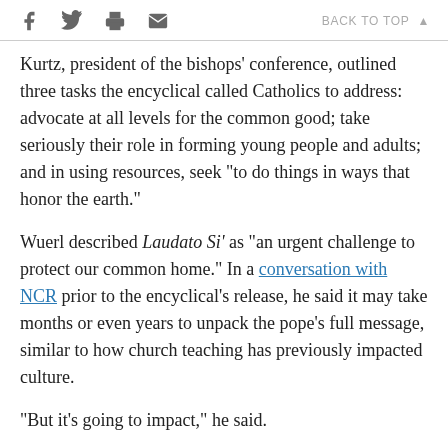f  [twitter]  [print]  [email]    BACK TO TOP ▲
Kurtz, president of the bishops' conference, outlined three tasks the encyclical called Catholics to address: advocate at all levels for the common good; take seriously their role in forming young people and adults; and in using resources, seek "to do things in ways that honor the earth."
Wuerl described Laudato Si' as "an urgent challenge to protect our common home." In a conversation with NCR prior to the encyclical's release, he said it may take months or even years to unpack the pope's full message, similar to how church teaching has previously impacted culture.
"But it's going to impact," he said.
The Washington cardinal said answering the question of how to respect and utilize creation in a way to